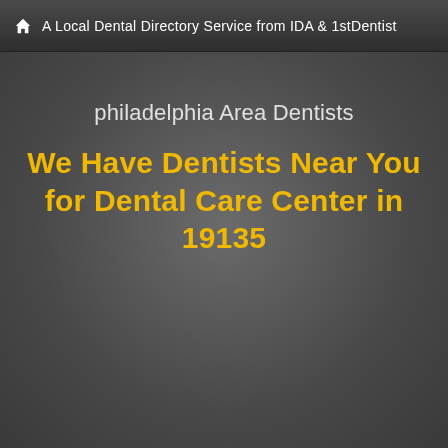A Local Dental Directory Service from IDA & 1stDentist
philadelphia Area Dentists
We Have Dentists Near You for Dental Care Center in 19135